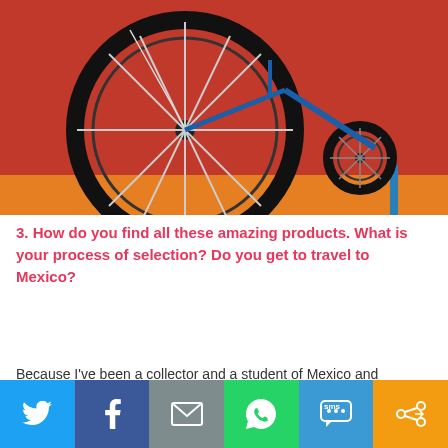[Figure (photo): A penny-farthing bicycle (large front wheel, small rear wheel) displayed against a pink/magenta background with an orange shelf]
3. How do you find all these amazing products. What is your process of selection? Do you get to travel to Mexico?
Because I've been a collector and a student of Mexico and Mexican traditional arts I've learned where and what to look for in Mexico. Every region has it's specialties and I focus on the the folk art that I think will sell in the Midwest. I travel to Mexico 4 times/year and go to different regions each time to select the pieces that I will
[Figure (infographic): Social sharing bar with icons: Twitter (blue), Facebook (dark blue), Email/envelope (gray), WhatsApp (green), SMS (light blue), More/share (orange)]